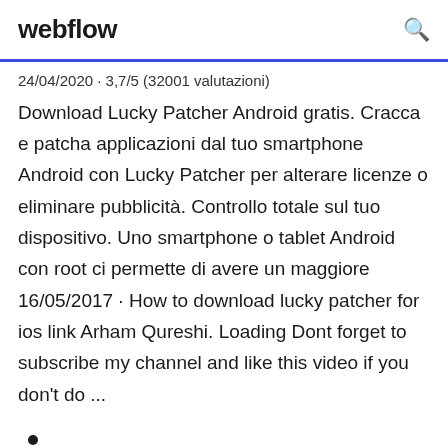webflow
24/04/2020 · 3,7/5 (32001 valutazioni)
Download Lucky Patcher Android gratis. Cracca e patcha applicazioni dal tuo smartphone Android con Lucky Patcher per alterare licenze o eliminare pubblicità. Controllo totale sul tuo dispositivo. Uno smartphone o tablet Android con root ci permette di avere un maggiore 16/05/2017 · How to download lucky patcher for ios link Arham Qureshi. Loading Dont forget to subscribe my channel and like this video if you don't do ...